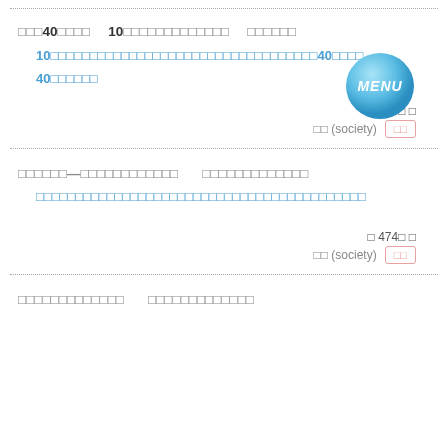□□□40□□□□  10□□□□□□□□□□□□□  □□□□□□
10□□□□□□□□□□□□□□□□□□□□□□□□□□□□□□□□□□40□□□□ MENU 40□□□□□□
□ 258□ □
□□ (society)  □□
□□□□□□—□□□□□□□□□□□□  □□□□□□□□□□□□□
□□□□□□□□□□□□□□□□□□□□□□□□□□□□□□□□□□□□□□□□□□
□ 474□ □
□□ (society)  □□
□□□□□□□□□□□□□  □□□□□□□□□□□□□